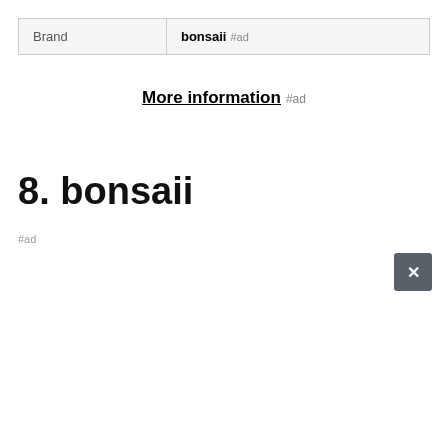| Brand |  |
| --- | --- |
| Brand | bonsaii #ad |
More information #ad
8. bonsaii
#ad
As an Amazon Associate I earn from qualifying purchases. This website uses the only necessary cookies to ensure you get the best experience on our website. More information